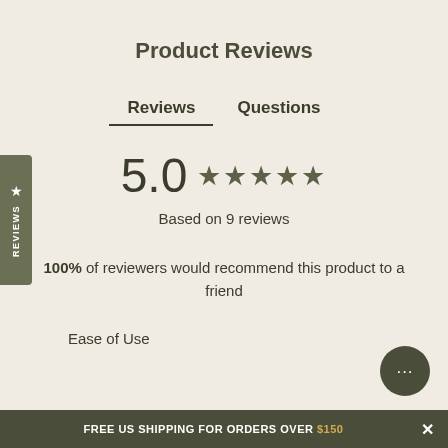Product Reviews
Reviews	Questions
5.0 ★★★★★
Based on 9 reviews
100% of reviewers would recommend this product to a friend
Ease of Use
FREE US SHIPPING FOR ORDERS OVER $150